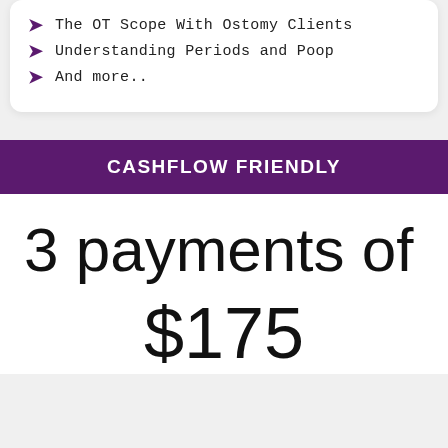The OT Scope With Ostomy Clients
Understanding Periods and Poop
And more..
CASHFLOW FRIENDLY
3 payments of
$175